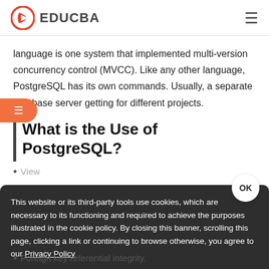[Figure (logo): EDUCBA logo with red/orange play-button icon and text EDUCBA]
language is one system that implemented multi-version concurrency control (MVCC). Like any other language, PostgreSQL has its own commands. Usually, a separate database server getting for different projects.
What is the Use of PostgreSQL?
This website or its third-party tools use cookies, which are necessary to its functioning and required to achieve the purposes illustrated in the cookie policy. By closing this banner, scrolling this page, clicking a link or continuing to browse otherwise, you agree to our Privacy Policy
View
Foreign key referential integrity.